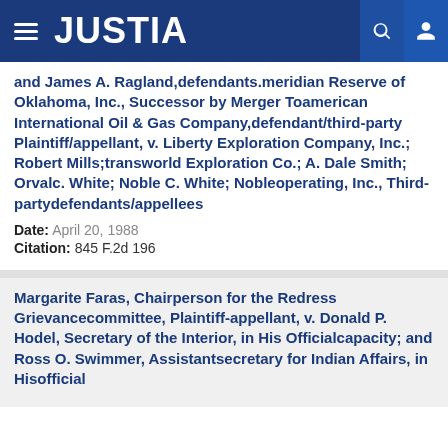JUSTIA
and James A. Ragland,defendants.meridian Reserve of Oklahoma, Inc., Successor by Merger Toamerican International Oil & Gas Company,defendant/third-party Plaintiff/appellant, v. Liberty Exploration Company, Inc.; Robert Mills;transworld Exploration Co.; A. Dale Smith; Orvalc. White; Noble C. White; Nobleoperating, Inc., Third-partydefendants/appellees
Date: April 20, 1988
Citation: 845 F.2d 196
Margarite Faras, Chairperson for the Redress Grievancecommittee, Plaintiff-appellant, v. Donald P. Hodel, Secretary of the Interior, in His Officialcapacity; and Ross O. Swimmer, Assistantsecretary for Indian Affairs, in Hisofficial